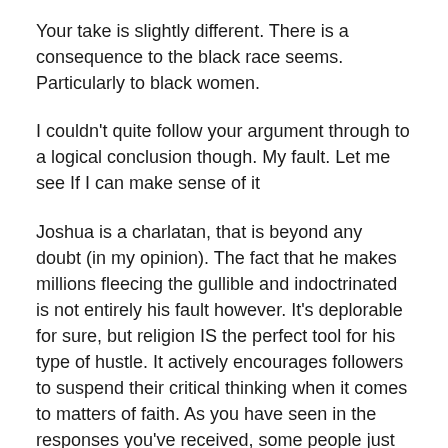Your take is slightly different. There is a consequence to the black race seems. Particularly to black women.
I couldn't quite follow your argument through to a logical conclusion though. My fault. Let me see If I can make sense of it
Joshua is a charlatan, that is beyond any doubt (in my opinion). The fact that he makes millions fleecing the gullible and indoctrinated is not entirely his fault however. It's deplorable for sure, but religion IS the perfect tool for his type of hustle. It actively encourages followers to suspend their critical thinking when it comes to matters of faith. As you have seen in the responses you've received, some people just don't think when it comes to their faith or favorite pastor. The fault then becomes theirs, not the pastor.
I do it see that you say attention here...I also see and his